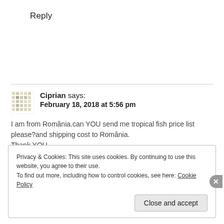Reply
Ciprian says:
February 18, 2018 at 5:56 pm

I am from România.can YOU send me tropical fish price list please?and shipping cost to România.
Thank YOU
Privacy & Cookies: This site uses cookies. By continuing to use this website, you agree to their use.
To find out more, including how to control cookies, see here: Cookie Policy

Close and accept